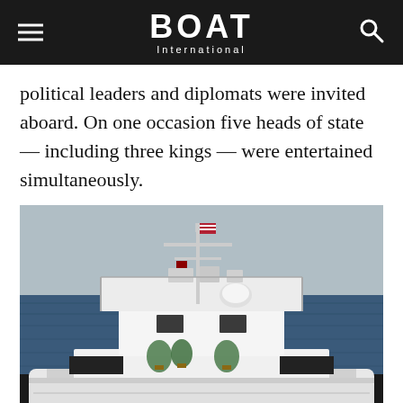BOAT International
political leaders and diplomats were invited aboard. On one occasion five heads of state — including three kings — were entertained simultaneously.
[Figure (photo): Aerial/stern view of a large white motor yacht at sea, showing upper deck with navigation equipment, mast with flags, satellite dome, and sun deck with plants, ocean in background.]